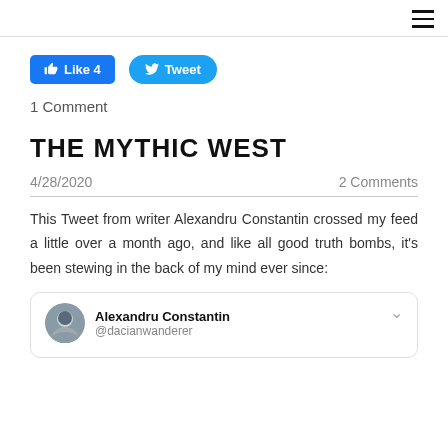☰ (hamburger menu icon)
[Figure (screenshot): Facebook Like button showing 'Like 4' and Twitter Tweet button]
1 Comment
THE MYTHIC WEST
4/28/2020   2 Comments
This Tweet from writer Alexandru Constantin crossed my feed a little over a month ago, and like all good truth bombs, it's been stewing in the back of my mind ever since:
[Figure (screenshot): Embedded tweet from Alexandru Constantin (@dacianwanderer) with profile photo, partially cut off at bottom]